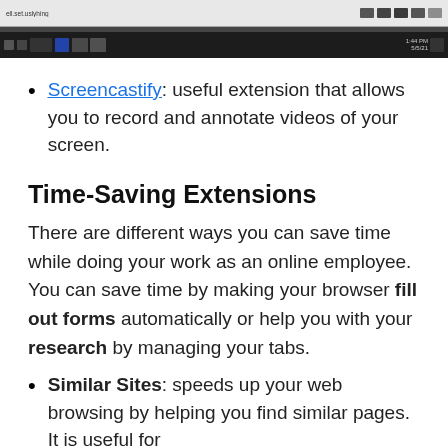[Figure (screenshot): Screenshot of a browser window showing a dark taskbar at the bottom and a webpage with a button visible at the top.]
Screencastify: useful extension that allows you to record and annotate videos of your screen.
Time-Saving Extensions
There are different ways you can save time while doing your work as an online employee. You can save time by making your browser fill out forms automatically or help you with your research by managing your tabs.
Similar Sites: speeds up your web browsing by helping you find similar pages. It is useful for